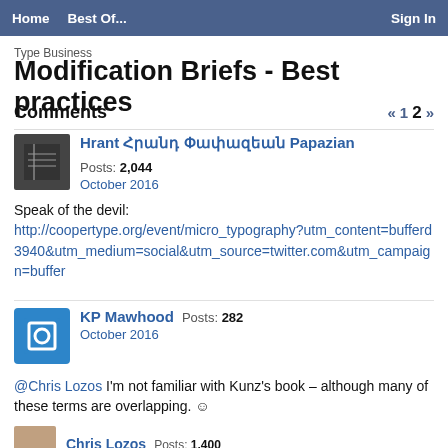Home  Best Of...  Sign In
Type Business
Modification Briefs - Best practices
Comments  « 1 2 »
Hrant Հրանդ Փափազեան Papazian  Posts: 2,044  October 2016
Speak of the devil:
http://coopertype.org/event/micro_typography?utm_content=bufferd3940&utm_medium=social&utm_source=twitter.com&utm_campaign=buffer
KP Mawhood  Posts: 282  October 2016
@Chris Lozos I'm not familiar with Kunz's book – although many of these terms are overlapping. 🙂
Chris Lozos  Posts: 1,400